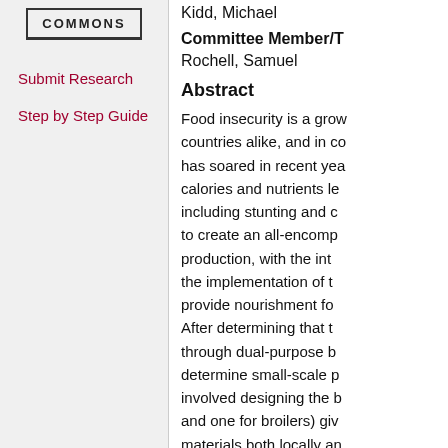[Figure (logo): COMMONS logo in a bordered box]
Submit Research
Step by Step Guide
Kidd, Michael
Committee Member/T
Rochell, Samuel
Abstract
Food insecurity is a grow countries alike, and in co has soared in recent yea calories and nutrients le including stunting and c to create an all-encomp production, with the int the implementation of t provide nourishment fo After determining that t through dual-purpose b determine small-scale p involved designing the b and one for broilers) giv materials both locally an